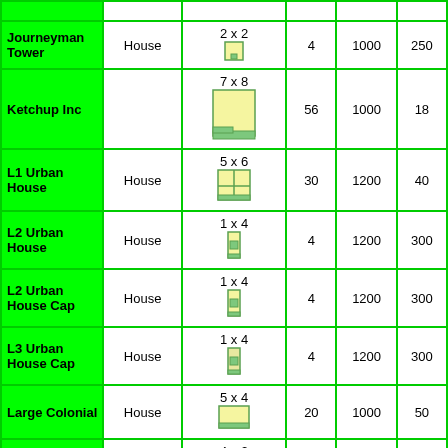| Name | Type | Size | Col4 | Col5 | Col6 |
| --- | --- | --- | --- | --- | --- |
| Journeyman Tower | House | 2 x 2 | 4 | 1000 | 250 |
| Ketchup Inc |  | 7 x 8 | 56 | 1000 | 18 |
| L1 Urban House | House | 5 x 6 | 30 | 1200 | 40 |
| L2 Urban House | House | 1 x 4 | 4 | 1200 | 300 |
| L2 Urban House Cap | House | 1 x 4 | 4 | 1200 | 300 |
| L3 Urban House Cap | House | 1 x 4 | 4 | 1200 | 300 |
| Large Colonial | House | 5 x 4 | 20 | 1000 | 50 |
| Large Lean-To | House | 4 x 2 | 8 | 1000 | 125 |
| Large Log Cabin | House | 4 x 5 | 20 | 2000 | 100 |